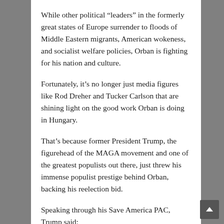While other political “leaders” in the formerly great states of Europe surrender to floods of Middle Eastern migrants, American wokeness, and socialist welfare policies, Orban is fighting for his nation and culture.
Fortunately, it’s no longer just media figures like Rod Dreher and Tucker Carlson that are shining light on the good work Orban is doing in Hungary.
That’s because former President Trump, the figurehead of the MAGA movement and one of the greatest populists out there, just threw his immense populist prestige behind Orban, backing his reelection bid.
Speaking through his Save America PAC, Trump said:
“Viktor Orbán of Hungary truly loves his Country and wants safety for his people. He has done a powerful